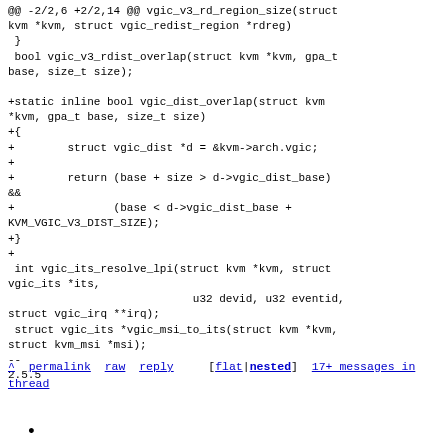@@ -2/2,6 +2/2,14 @@ vgic_v3_rd_region_size(struct kvm *kvm, struct vgic_redist_region *rdreg)
 }
 bool vgic_v3_rdist_overlap(struct kvm *kvm, gpa_t base, size_t size);

+static inline bool vgic_dist_overlap(struct kvm *kvm, gpa_t base, size_t size)
+{
+        struct vgic_dist *d = &kvm->arch.vgic;
++
+        return (base + size > d->vgic_dist_base) &&
+                       (base < d->vgic_dist_base + KVM_VGIC_V3_DIST_SIZE);
+}
+
 int vgic_its_resolve_lpi(struct kvm *kvm, struct vgic_its *its,
                            u32 devid, u32 eventid, struct vgic_irq **irq);
 struct vgic_its *vgic_msi_to_its(struct kvm *kvm, struct kvm_msi *msi);
--
2.5.5
^ permalink raw reply [flat|nested] 17+ messages in thread
•